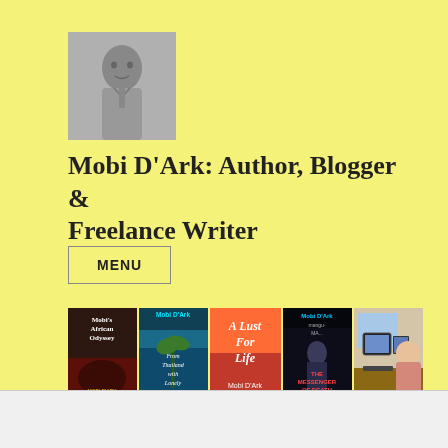[Figure (photo): Black and white portrait photo of a young boy in a collared shirt and tie]
Mobi D'Ark: Author, Blogger & Freelance Writer
MENU
[Figure (photo): A horizontal strip showing four book covers by Mobi D'Ark (Mobi's African Odyssey, From Thailand with Lonely, A Lust For Life, Mobi D'Ark Messenger of Death) and a photo of a man working at a computer desk]
Follow ...